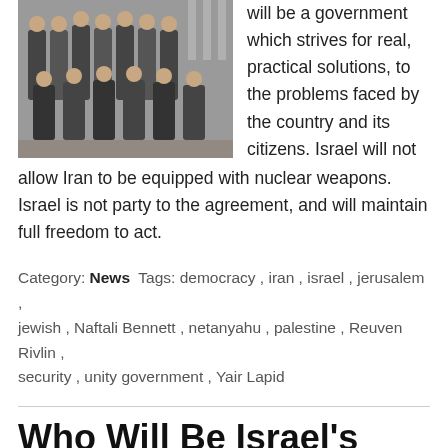[Figure (photo): Group photo of Israeli government officials in formal attire, arranged in rows in an official setting with flags visible in the background.]
will be a government which strives for real, practical solutions, to the problems faced by the country and its citizens. Israel will not allow Iran to be equipped with nuclear weapons. Israel is not party to the agreement, and will maintain full freedom to act.
Category: News  Tags: democracy, iran, israel, jerusalem, jewish, Naftali Bennett, netanyahu, palestine, Reuven Rivlin, security, unity government, Yair Lapid
Who Will Be Israel's Next Prime Minister?